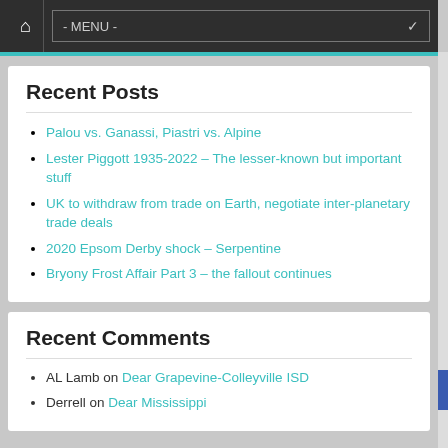Home - MENU -
Recent Posts
Palou vs. Ganassi, Piastri vs. Alpine
Lester Piggott 1935-2022 – The lesser-known but important stuff
UK to withdraw from trade on Earth, negotiate inter-planetary trade deals
2020 Epsom Derby shock – Serpentine
Bryony Frost Affair Part 3 – the fallout continues
Recent Comments
AL Lamb on Dear Grapevine-Colleyville ISD
Derrell on Dear Mississippi